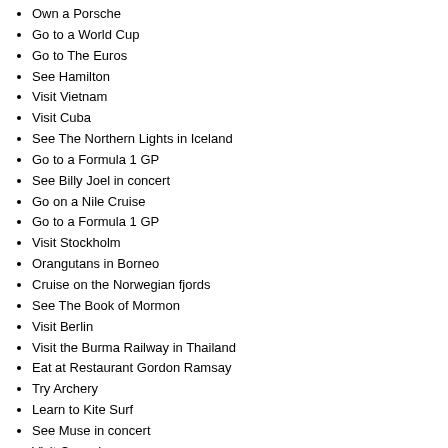Own a Porsche
Go to a World Cup
Go to The Euros
See Hamilton
Visit Vietnam
Visit Cuba
See The Northern Lights in Iceland
Go to a Formula 1 GP
See Billy Joel in concert
Go on a Nile Cruise
Go to a Formula 1 GP
Visit Stockholm
Orangutans in Borneo
Cruise on the Norwegian fjords
See The Book of Mormon
Visit Berlin
Visit the Burma Railway in Thailand
Eat at Restaurant Gordon Ramsay
Try Archery
Learn to Kite Surf
See Muse in concert
Visit Copenhagen
See Royal Blood in concert